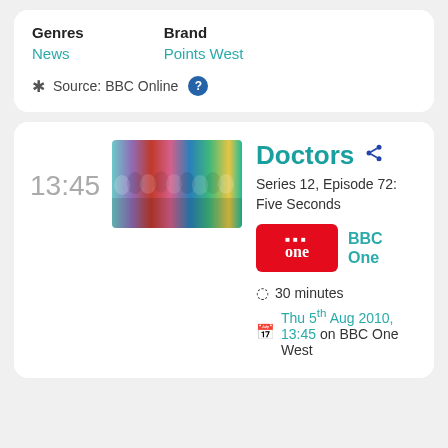Genres
Brand
News
Points West
Source: BBC Online
13:45
[Figure (photo): Group photo of Doctors TV show cast members standing side by side with colourful background]
Doctors
Series 12, Episode 72: Five Seconds
[Figure (logo): BBC One red logo badge]
BBC One
30 minutes
Thu 5th Aug 2010, 13:45 on BBC One West